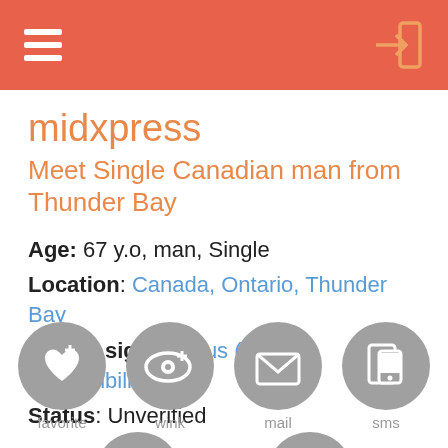midxpress app header with hamburger menu and login icon
midxpress
Meet Single Canadian man from Thunder Bay
Age: 67 y.o, man, Single
Location: Canada, Ontario, Thunder Bay
Zodiac sign: Taurus (check compatibility)
Status: Unverified
[Figure (infographic): Four circular grey action buttons: favorite (heart+plus icon), wink (eye+plus icon), mail (envelope icon), sms (phone icon)]
[Figure (infographic): Two partially visible circular grey action buttons at bottom: chat bubble icon and flag/report icon]